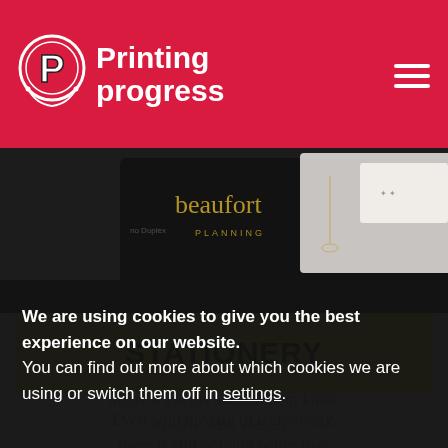Printing progress
[Figure (photo): Business cards and stationery on dark background, showing 'beaufort PLANNING' branding]
STATIONERY
Even with the rise of technology, there is still nothing better than
We are using cookies to give you the best experience on our website.
You can find out more about which cookies we are using or switch them off in settings.
Accept
impress clients and let them know exactly who you are!